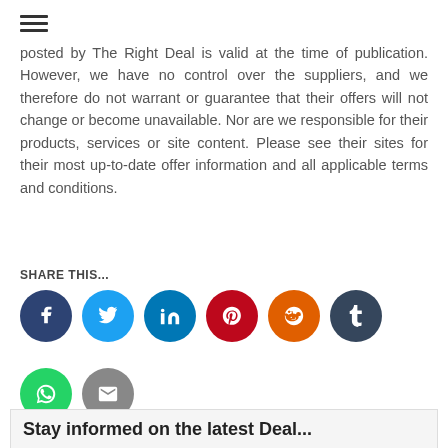≡ (hamburger menu icon)
posted by The Right Deal is valid at the time of publication. However, we have no control over the suppliers, and we therefore do not warrant or guarantee that their offers will not change or become unavailable. Nor are we responsible for their products, services or site content. Please see their sites for their most up-to-date offer information and all applicable terms and conditions.
SHARE THIS...
[Figure (infographic): Row of social media share buttons: Facebook (dark blue), Twitter (light blue), LinkedIn (blue), Pinterest (red), Reddit (orange), Tumblr (dark navy), WhatsApp (green), Email (grey)]
Stay informed on the latest Deal...